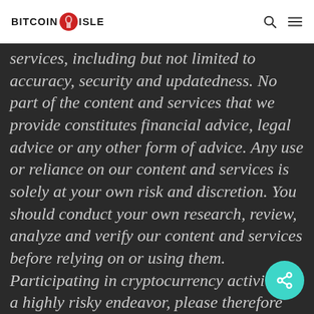BITCOIN ISLE
services, including but not limited to accuracy, security and updatedness. No part of the content and services that we provide constitutes financial advice, legal advice or any other form of advice. Any use or reliance on our content and services is solely at your own risk and discretion. You should conduct your own research, review, analyze and verify our content and services before relying on or using them. Participating in cryptocurrency activities is a highly risky endeavor, please therefore consult your financial advisor before making any monetary decisions. No content on our Site is meant to be a solicitation or offe